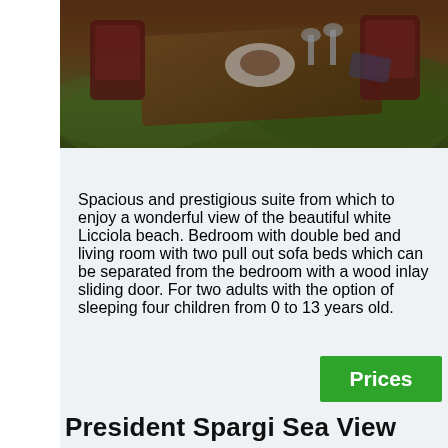[Figure (photo): Outdoor dining table with food and wine glasses, surrounded by greenery and red chairs, viewed from above at an angle.]
Spacious and prestigious suite from which to enjoy a wonderful view of the beautiful white Licciola beach. Bedroom with double bed and living room with two pull out sofa beds which can be separated from the bedroom with a wood inlay sliding door. For two adults with the option of sleeping four children from 0 to 13 years old.
Prices
President Spargi Sea View